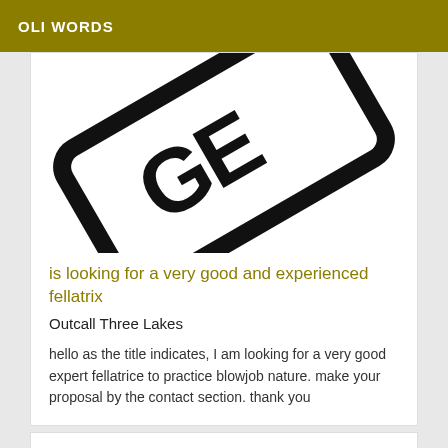OLI WORDS
[Figure (photo): Partial view of a stamp or sign with bold black letters on white background with a black rounded rectangle border, cropped diagonally]
is looking for a very good and experienced fellatrix
Outcall Three Lakes
hello as the title indicates, I am looking for a very good expert fellatrice to practice blowjob nature. make your proposal by the contact section. thank you